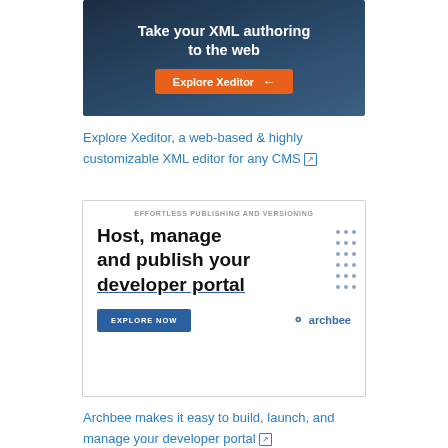[Figure (infographic): Dark blue banner ad for Xeditor with text 'Take your XML authoring to the web' and an orange 'Explore Xeditor' button with arrows]
Explore Xeditor, a web-based & highly customizable XML editor for any CMS
[Figure (infographic): Archbee banner ad with text 'EFFORTLESS PUBLISHING AND VERSIONING', 'Host, manage and publish your developer portal', 'EXPLORE NOW' button, and Archbee logo]
Archbee makes it easy to build, launch, and manage your developer portal